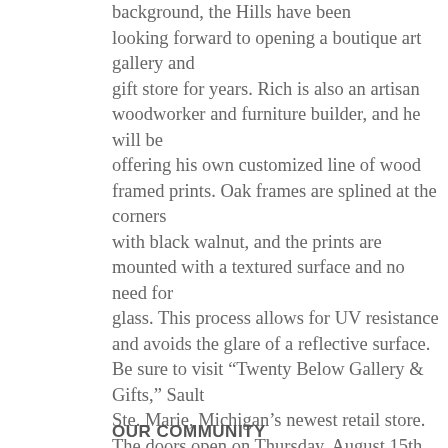background, the Hills have been looking forward to opening a boutique art gallery and gift store for years. Rich is also an artisan woodworker and furniture builder, and he will be offering his own customized line of wood framed prints. Oak frames are splined at the corners with black walnut, and the prints are mounted with a textured surface and no need for glass. This process allows for UV resistance and avoids the glare of a reflective surface. Be sure to visit “Twenty Below Gallery & Gifts,” Sault Ste. Marie, Michigan’s newest retail store. The doors open on Thursday, August 15th, and store hours will be from 10:00am to 5:30pm Monday through Saturday. The store is located at 416 Ashmun Street across from Arfstrom’s Medical Supplies and Thinking of U.
OUR COMMUNITY